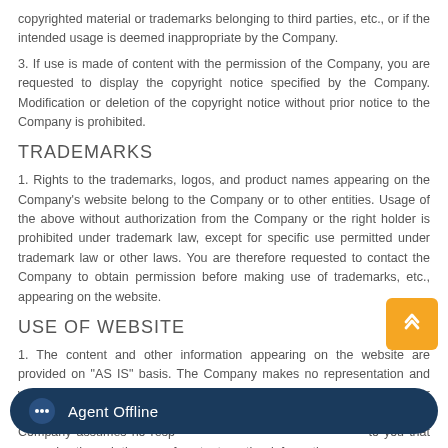copyrighted material or trademarks belonging to third parties, etc., or if the intended usage is deemed inappropriate by the Company.
3. If use is made of content with the permission of the Company, you are requested to display the copyright notice specified by the Company. Modification or deletion of the copyright notice without prior notice to the Company is prohibited.
TRADEMARKS
1. Rights to the trademarks, logos, and product names appearing on the Company's website belong to the Company or to other entities. Usage of the above without authorization from the Company or the right holder is prohibited under trademark law, except for specific use permitted under trademark law or other laws. You are therefore requested to contact the Company to obtain permission before making use of trademarks, etc., appearing on the website.
USE OF WEBSITE
1. The content and other information appearing on the website are provided on "AS IS" basis. The Company makes no representation and warranty, either express or implied, as to the accuracy, usefulness, or certainty of any of the content or other information on the website. The Company assumes no responsibility for any damage caused to you that may arise through the use of content or other information